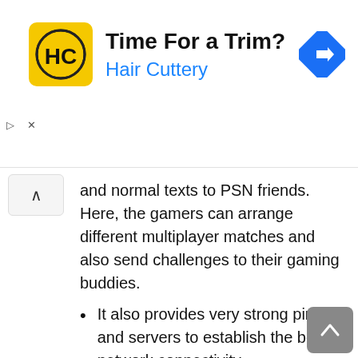[Figure (advertisement): Hair Cuttery ad banner with HC logo on yellow background, title 'Time For a Trim?', subtitle 'Hair Cuttery' in blue, and a blue direction sign icon on the right.]
and normal texts to PSN friends. Here, the gamers can arrange different multiplayer matches and also send challenges to their gaming buddies.
It also provides very strong pings and servers to establish the best network connectivity.
PlayStation Messages for PC allows you to get connected with the PlayStation Network Companions and find a way to the official app of the PlayStation.
You can also share and upload a lot of images and attachments through this instant messaging application. Moreover, you can